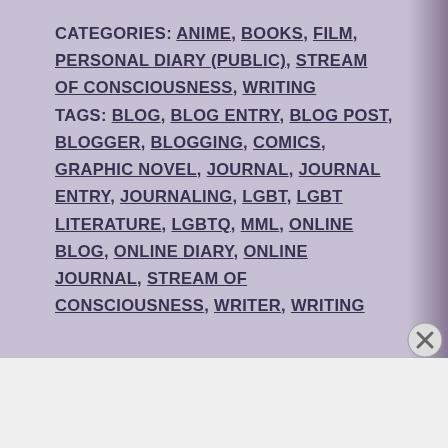CATEGORIES: ANIME, BOOKS, FILM, PERSONAL DIARY (PUBLIC), STREAM OF CONSCIOUSNESS, WRITING TAGS: BLOG, BLOG ENTRY, BLOG POST, BLOGGER, BLOGGING, COMICS, GRAPHIC NOVEL, JOURNAL, JOURNAL ENTRY, JOURNALING, LGBT, LGBT LITERATURE, LGBTQ, MML, ONLINE BLOG, ONLINE DIARY, ONLINE JOURNAL, STREAM OF CONSCIOUSNESS, WRITER, WRITING
Advertisements
[Figure (screenshot): DuckDuckGo advertisement banner: orange background with text 'Search, browse, and email with more privacy. All in One Free App' and dark panel with duck logo and DuckDuckGo brand name]